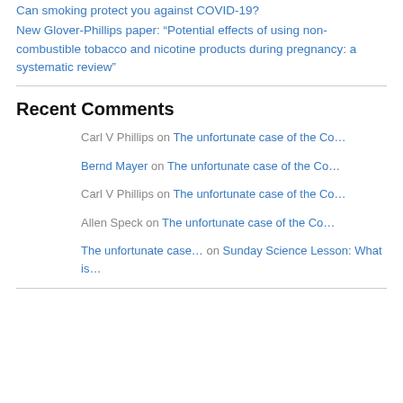Can smoking protect you against COVID-19?
New Glover-Phillips paper: “Potential effects of using non-combustible tobacco and nicotine products during pregnancy: a systematic review”
Recent Comments
Carl V Phillips on The unfortunate case of the Co…
Bernd Mayer on The unfortunate case of the Co…
Carl V Phillips on The unfortunate case of the Co…
Allen Speck on The unfortunate case of the Co…
The unfortunate case… on Sunday Science Lesson: What is…